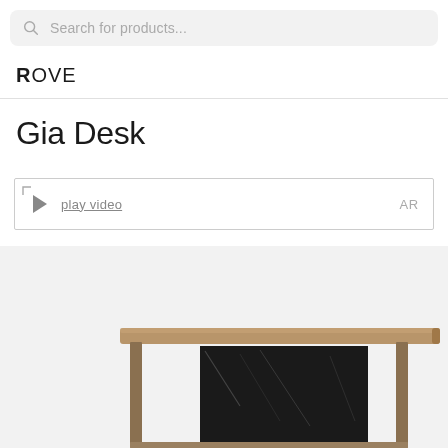Search for products...
ROVE
Gia Desk
play video   AR
[Figure (photo): Bottom portion of a Gia Desk showing a wooden tabletop with metal/black marble panel support structure visible at the bottom of the page]